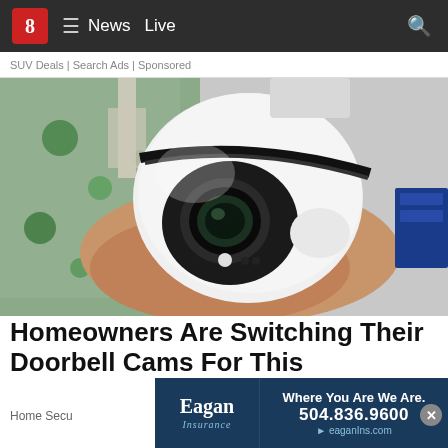8 News Live
SUV Deals | Search Ads | Sponsored
[Figure (photo): A hand holding a white egg-shaped security camera that screws into a light bulb socket, with a camera lens visible on the front face. Background shows green bokeh lights and a blue box.]
Homeowners Are Switching Their Doorbell Cams For This
Home Secu...
[Figure (other): Eagan Insurance advertisement banner: 'Where You Are We Are. 504.836.9600 eaganIns.com']